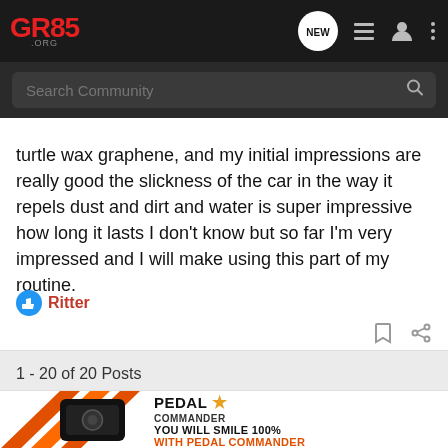GR86.ORG — navigation bar with logo, NEW, list, user, and more icons
Search Community
turtle wax graphene, and my initial impressions are really good the slickness of the car in the way it repels dust and dirt and water is super impressive how long it lasts I don't know but so far I'm very impressed and I will make using this part of my routine.
Ritter
1 - 20 of 20 Posts
[Figure (infographic): Pedal Commander advertisement banner with orange and black graphic design. Text reads: PEDAL COMMANDER ★ YOU WILL SMILE 100% WITH PEDAL COMMANDER]